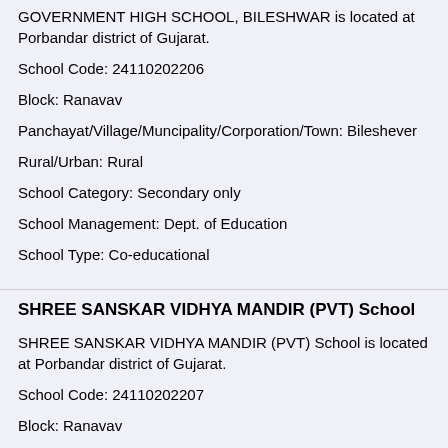GOVERNMENT HIGH SCHOOL, BILESHWAR is located at Porbandar district of Gujarat.
School Code: 24110202206
Block: Ranavav
Panchayat/Village/Muncipality/Corporation/Town: Bileshever
Rural/Urban: Rural
School Category: Secondary only
School Management: Dept. of Education
School Type: Co-educational
SHREE SANSKAR VIDHYA MANDIR (PVT) School
SHREE SANSKAR VIDHYA MANDIR (PVT) School is located at Porbandar district of Gujarat.
School Code: 24110202207
Block: Ranavav